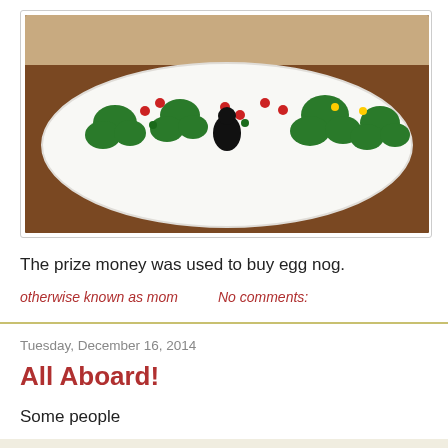[Figure (photo): A white plate with Christmas tree decorations made from green frosting and colorful candy dots (red, green, yellow), with a black figurine in the center, on a wooden surface.]
The prize money was used to buy egg nog.
otherwise known as mom
No comments:
Tuesday, December 16, 2014
All Aboard!
Some people